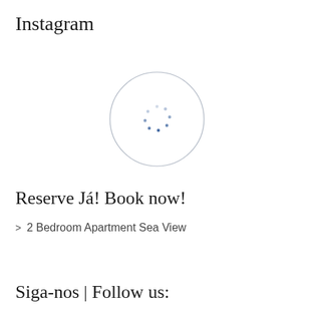Instagram
[Figure (other): A loading spinner icon — a thin gray circle outline with small blue dots arranged in a circle pattern in the center, indicating a loading state for an Instagram feed widget.]
Reserve Já! Book now!
2 Bedroom Apartment Sea View
Siga-nos | Follow us: